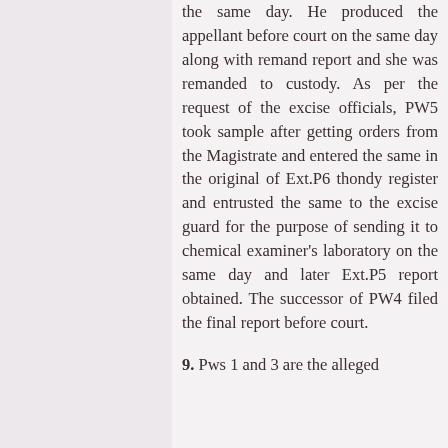the same day. He produced the appellant before court on the same day along with remand report and she was remanded to custody. As per the request of the excise officials, PW5 took sample after getting orders from the Magistrate and entered the same in the original of Ext.P6 thondy register and entrusted the same to the excise guard for the purpose of sending it to chemical examiner's laboratory on the same day and later Ext.P5 report obtained. The successor of PW4 filed the final report before court.
9. Pws 1 and 3 are the alleged